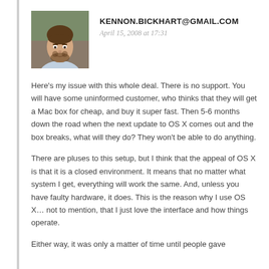[Figure (photo): Avatar photo of a young man with brown hair and beard, wearing a light blue shirt, outdoors with blurred background.]
KENNON.BICKHART@GMAIL.COM
April 15, 2008 at 17:31
Here's my issue with this whole deal. There is no support. You will have some uninformed customer, who thinks that they will get a Mac box for cheap, and buy it super fast. Then 5-6 months down the road when the next update to OS X comes out and the box breaks, what will they do? They won't be able to do anything.
There are pluses to this setup, but I think that the appeal of OS X is that it is a closed environment. It means that no matter what system I get, everything will work the same. And, unless you have faulty hardware, it does. This is the reason why I use OS X... not to mention, that I just love the interface and how things operate.
Either way, it was only a matter of time until people gave